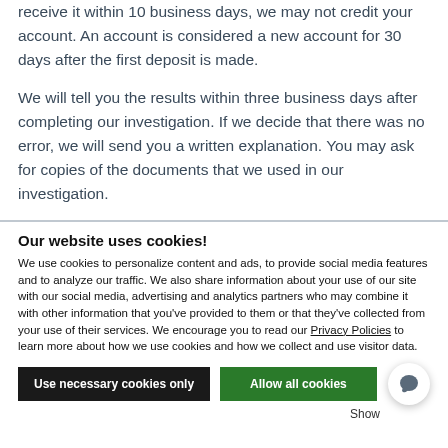receive it within 10 business days, we may not credit your account. An account is considered a new account for 30 days after the first deposit is made.
We will tell you the results within three business days after completing our investigation. If we decide that there was no error, we will send you a written explanation. You may ask for copies of the documents that we used in our investigation.
Our website uses cookies!
We use cookies to personalize content and ads, to provide social media features and to analyze our traffic. We also share information about your use of our site with our social media, advertising and analytics partners who may combine it with other information that you've provided to them or that they've collected from your use of their services. We encourage you to read our Privacy Policies to learn more about how we use cookies and how we collect and use visitor data.
Use necessary cookies only | Allow all cookies | Show